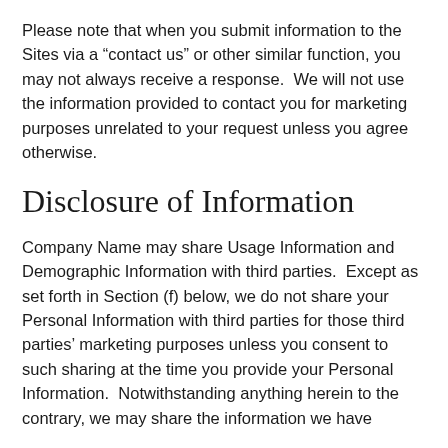Please note that when you submit information to the Sites via a “contact us” or other similar function, you may not always receive a response.  We will not use the information provided to contact you for marketing purposes unrelated to your request unless you agree otherwise.
Disclosure of Information
Company Name may share Usage Information and Demographic Information with third parties.  Except as set forth in Section (f) below, we do not share your Personal Information with third parties for those third parties’ marketing purposes unless you consent to such sharing at the time you provide your Personal Information.  Notwithstanding anything herein to the contrary, we may share the information we have